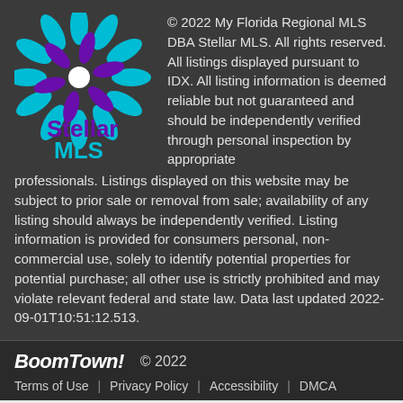[Figure (logo): Stellar MLS logo with snowflake/star graphic in teal and purple, with 'Stellar MLS' text below]
© 2022 My Florida Regional MLS DBA Stellar MLS. All rights reserved. All listings displayed pursuant to IDX. All listing information is deemed reliable but not guaranteed and should be independently verified through personal inspection by appropriate professionals. Listings displayed on this website may be subject to prior sale or removal from sale; availability of any listing should always be independently verified. Listing information is provided for consumers personal, non-commercial use, solely to identify potential properties for potential purchase; all other use is strictly prohibited and may violate relevant federal and state law. Data last updated 2022-09-01T10:51:12.513.
BoomTown! © 2022
Terms of Use | Privacy Policy | Accessibility | DMCA
Take a Tour
Ask A Question